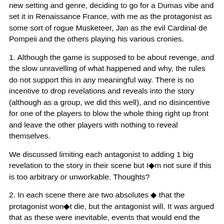new setting and genre, deciding to go for a Dumas vibe and set it in Renaissance France, with me as the protagonist as some sort of rogue Musketeer, Jan as the evil Cardinal de Pompeii and the others playing his various cronies.
1. Although the game is supposed to be about revenge, and the slow unravelling of what happened and why, the rules do not support this in any meaningful way. There is no incentive to drop revelations and reveals into the story (although as a group, we did this well), and no disincentive for one of the players to blow the whole thing right up front and leave the other players with nothing to reveal themselves.
We discussed limiting each antagonist to adding 1 big revelation to the story in their scene but I◆m not sure if this is too arbitrary or unworkable. Thoughts?
2. In each scene there are two absolutes ◆ that the protagonist won◆t die, but the antagonist will. It was argued that as these were inevitable, events that would end the scene, they did not need to be mechanical and merely narrative.
My fear here is that if it becomes purely narrative, there is nothing to make the fight between hero and villain a tussle or indeed dramatic. During the game we had several memorable battles, including one in the final scene where my hero fought his opponent on board a